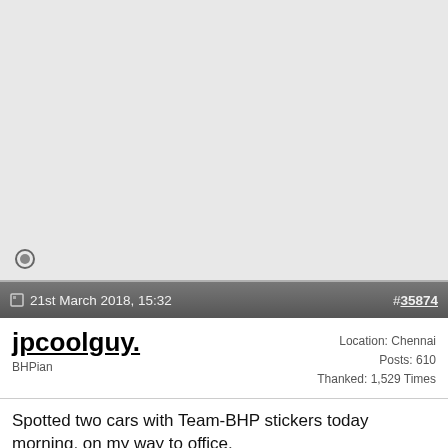[Figure (other): Top panel - grey background area with offline status icon (circle icon at bottom left)]
21st March 2018, 15:32   #35874
jpcoolguy.
BHPian
Location: Chennai
Posts: 610
Thanked: 1,529 Times
Spotted two cars with Team-BHP stickers today morning, on my way to office.

1. A White Punto, TN 14 0851, sporting LTD sticker in the RHS rear bumper. Spotted this around 8:30 AM near St. John's Public School (Perumbakkam) and saw him took a turn towards Shollinganallur.

2. A Red Punto, KA 05 MK 7253, sporting LTD sticker in the LHS rear hatch. Spotted this 5 mins later than the 1st spotting and in the stretch after the toll booth near Elcot signal.